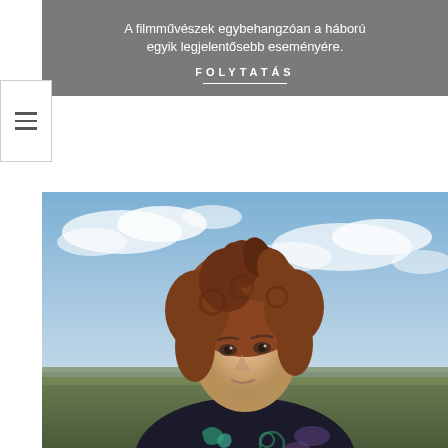A filmművészek egybehangzóan a háború egyik legjelentősebb eseményére.
FOLYTATÁS
[Figure (photo): Portrait photo of a young person with curly reddish-brown hair, looking upward, wearing a dark patterned shirt with green swirl design, outdoors against a blue sky with clouds and a field in the background.]